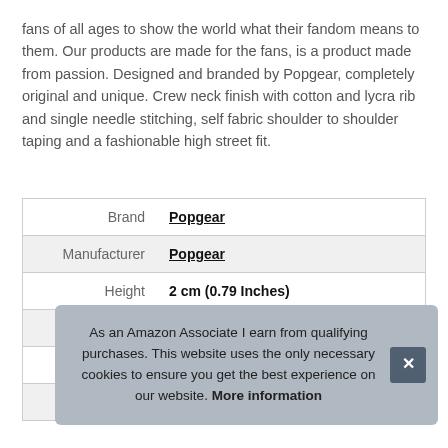fans of all ages to show the world what their fandom means to them. Our products are made for the fans, is a product made from passion. Designed and branded by Popgear, completely original and unique. Crew neck finish with cotton and lycra rib and single needle stitching, self fabric shoulder to shoulder taping and a fashionable high street fit.
| Brand | Popgear |
| Manufacturer | Popgear |
| Height | 2 cm (0.79 Inches) |
| Length | 34 cm (13.39 Inches) |
| P |  |
| Model | WWE00006BTS01 |
As an Amazon Associate I earn from qualifying purchases. This website uses the only necessary cookies to ensure you get the best experience on our website. More information